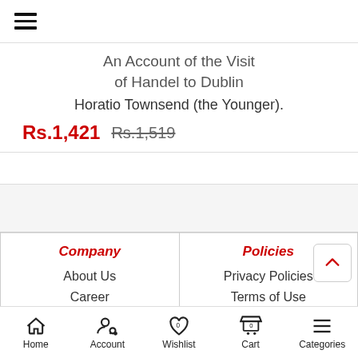Navigation menu (hamburger icon)
An Account of the Visit of Handel to Dublin
Horatio Townsend (the Younger).
Rs.1,421  Rs.1,519
Company
About Us
Career
Policies
Privacy Policies
Terms of Use
Home  Account  Wishlist 0  Cart 0  Categories